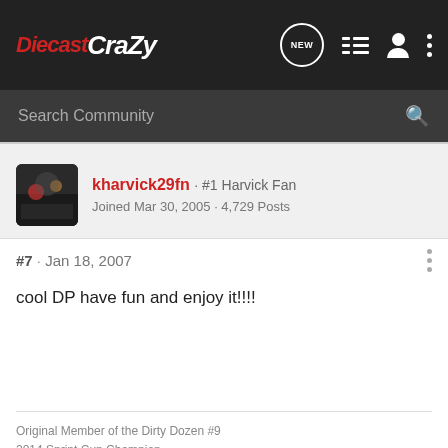DiecastCrazy
Search Community
kharvick29fn · #1 Harvick Fan
Joined Mar 30, 2005 · 4,729 Posts
#7 · Jan 18, 2007
cool DP have fun and enjoy it!!!!
Original Member of the Dirty Dozen #9
2014 Sprint Cup Champion.